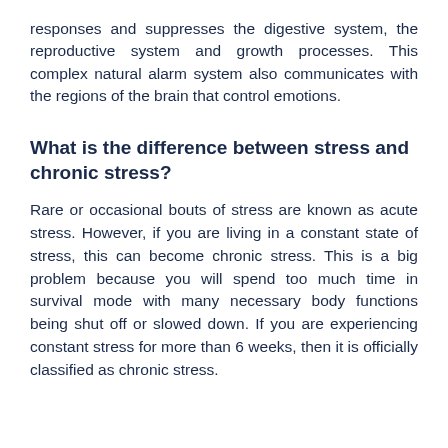responses and suppresses the digestive system, the reproductive system and growth processes. This complex natural alarm system also communicates with the regions of the brain that control emotions.
What is the difference between stress and chronic stress?
Rare or occasional bouts of stress are known as acute stress. However, if you are living in a constant state of stress, this can become chronic stress. This is a big problem because you will spend too much time in survival mode with many necessary body functions being shut off or slowed down. If you are experiencing constant stress for more than 6 weeks, then it is officially classified as chronic stress.